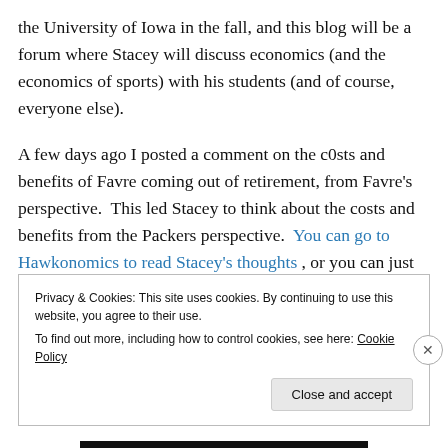the University of Iowa in the fall, and this blog will be a forum where Stacey will discuss economics (and the economics of sports) with his students (and of course, everyone else).
A few days ago I posted a comment on the c0sts and benefits of Favre coming out of retirement, from Favre's perspective.  This led Stacey to think about the costs and benefits from the Packers perspective.  You can go to Hawkonomics to read Stacey's thoughts , or you can just keep reading.
Privacy & Cookies: This site uses cookies. By continuing to use this website, you agree to their use.
To find out more, including how to control cookies, see here: Cookie Policy